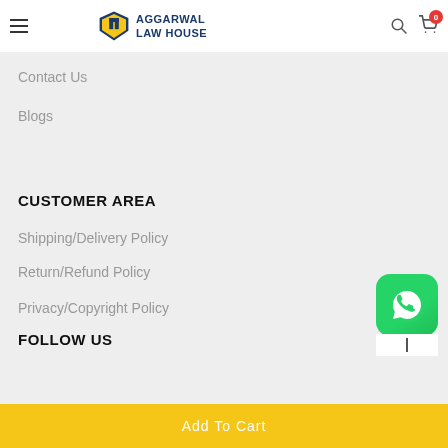AGGARWAL LAW HOUSE
Contact Us
Blogs
CUSTOMER AREA
Shipping/Delivery Policy
Return/Refund Policy
Privacy/Copyright Policy
[Figure (logo): WhatsApp icon — green rounded square with white phone handset]
FOLLOW US
Add To Cart